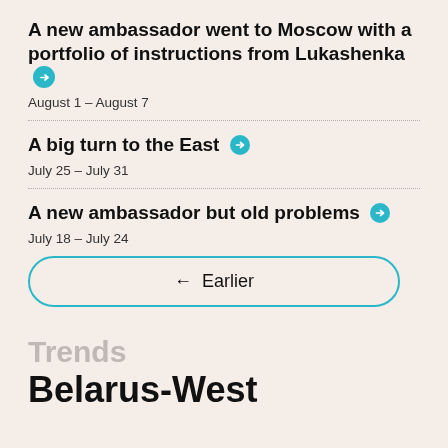A new ambassador went to Moscow with a portfolio of instructions from Lukashenka →
August 1 – August 7
A big turn to the East →
July 25 – July 31
A new ambassador but old problems →
July 18 – July 24
← Earlier
Trends
Belarus-West